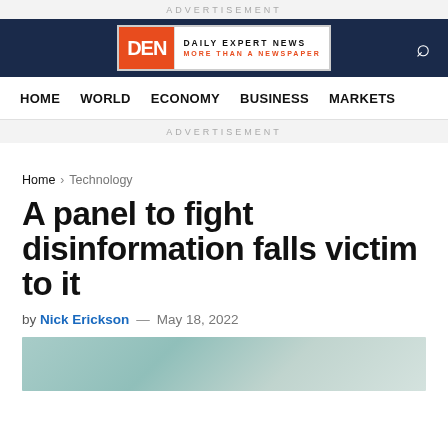ADVERTISEMENT
[Figure (logo): DEN Daily Expert News logo on navy header bar with search icon]
HOME   WORLD   ECONOMY   BUSINESS   MARKETS
ADVERTISEMENT
Home > Technology
A panel to fight disinformation falls victim to it
by Nick Erickson — May 18, 2022
[Figure (photo): Partial photo of a room with green and blue tones, appears to be an office or conference room]